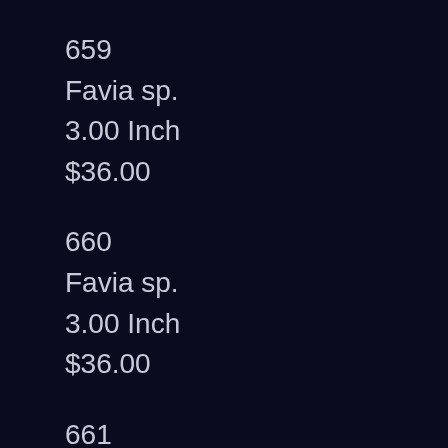659
Favia sp.
3.00 Inch
$36.00
660
Favia sp.
3.00 Inch
$36.00
661
Favia sp.